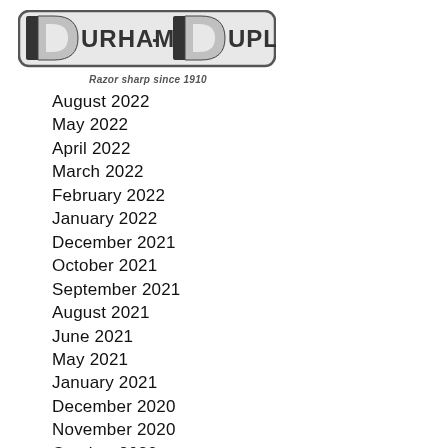[Figure (logo): Durham-Duplex logo with stylized D letters and brand name, tagline: Razor sharp since 1910]
August 2022
May 2022
April 2022
March 2022
February 2022
January 2022
December 2021
October 2021
September 2021
August 2021
June 2021
May 2021
January 2021
December 2020
November 2020
October 2020
September 2020